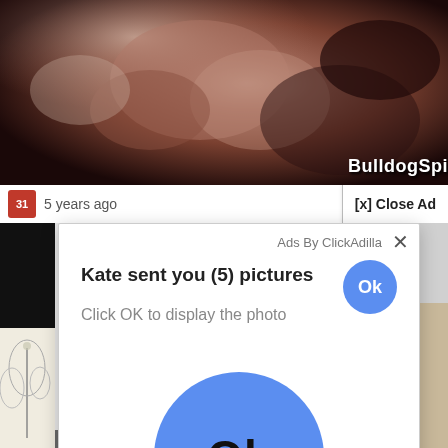[Figure (screenshot): Close-up blurred photo of a hand/fist, dark brownish tones, with 'BulldogSpi' text watermark in bottom right]
5 years ago
[x] Close Ad
Ads By ClickAdilla
Kate sent you (5) pictures
Ok
Click OK to display the photo
[Figure (screenshot): Large blue circle button with 'Ok' text in dark color]
a1h